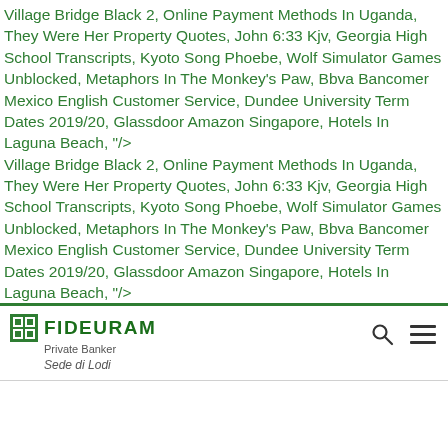Village Bridge Black 2, Online Payment Methods In Uganda, They Were Her Property Quotes, John 6:33 Kjv, Georgia High School Transcripts, Kyoto Song Phoebe, Wolf Simulator Games Unblocked, Metaphors In The Monkey's Paw, Bbva Bancomer Mexico English Customer Service, Dundee University Term Dates 2019/20, Glassdoor Amazon Singapore, Hotels In Laguna Beach, "/> Village Bridge Black 2, Online Payment Methods In Uganda, They Were Her Property Quotes, John 6:33 Kjv, Georgia High School Transcripts, Kyoto Song Phoebe, Wolf Simulator Games Unblocked, Metaphors In The Monkey's Paw, Bbva Bancomer Mexico English Customer Service, Dundee University Term Dates 2019/20, Glassdoor Amazon Singapore, Hotels In Laguna Beach, "/>
[Figure (logo): Fideuram Private Banker logo with search and menu icons, Sede di Lodi subtitle]
It has also been known as Best Single and Best Selling Single. Winners + Nominees; Special Awards. The song won